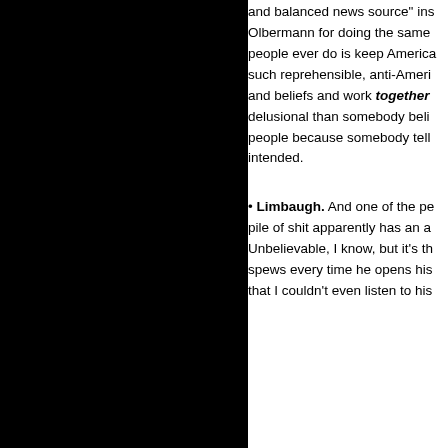and balanced news source" ins Olbermann for doing the same people ever do is keep America such reprehensible, anti-Ameri and beliefs and work together delusional than somebody beli people because somebody tell intended.
Limbaugh. And one of the pe pile of shit apparently has an a Unbelievable, I know, but it's th spews every time he opens his that I couldn't even listen to his